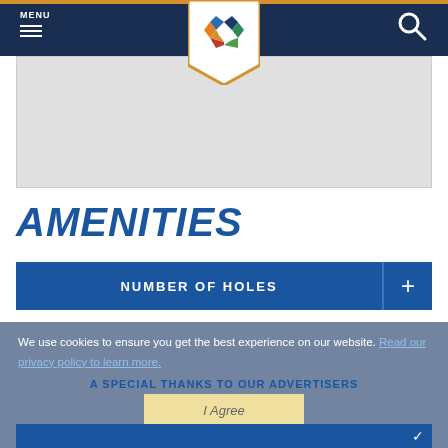MENU
[Figure (logo): Colorful star/pinwheel logo on white badge with orange border]
[Figure (photo): Gray placeholder image area]
AMENITIES
NUMBER OF HOLES
We use cookies to ensure you get the best experience on our website. Read our privacy policy to learn more.
A SPECIAL THANKS TO OUR ADVERTISERS
I Agree